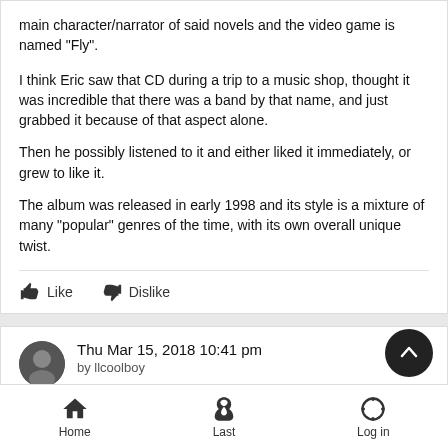main character/narrator of said novels and the video game is named "Fly".
I think Eric saw that CD during a trip to a music shop, thought it was incredible that there was a band by that name, and just grabbed it because of that aspect alone.
Then he possibly listened to it and either liked it immediately, or grew to like it.
The album was released in early 1998 and its style is a mixture of many "popular" genres of the time, with its own overall unique twist.
Like   Dislike
Thu Mar 15, 2018 10:41 pm
by llcoolboy
Home   Last   Log in